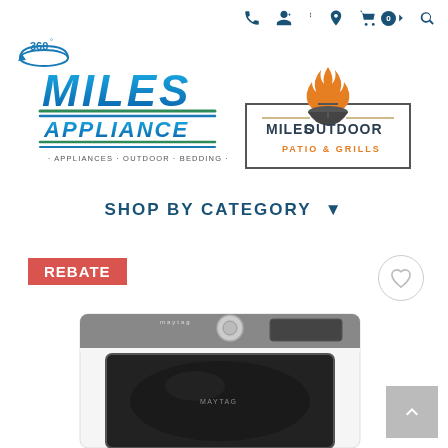[Figure (logo): Top navigation icons: phone, user/account with dropdown, location pin, shopping cart with 0 badge, and search icon in dark blue]
[Figure (logo): 360 degree rotation icon in blue circle with 360 degree text]
[Figure (logo): Miles Appliance logo with large blue italic MILES and APPLIANCE text, green and blue underline stripes, tagline APPLIANCES OUTDOOR BEDDING]
[Figure (logo): Miles Outdoor Patio & Grills logo with flame/grill icon above, border box containing MILES OUTDOOR text and orange PATIO & GRILLS tagline]
SHOP BY CATEGORY ▼
REBATE
[Figure (photo): Maytag white top-load washer or dryer appliance with dark door glass and silver control panel at top]